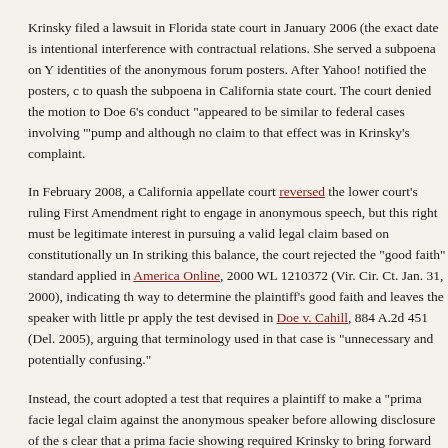Krinsky filed a lawsuit in Florida state court in January 2006 (the exact date is intentional interference with contractual relations. She served a subpoena on Y identities of the anonymous forum posters. After Yahoo! notified the posters, c to quash the subpoena in California state court. The court denied the motion to Doe 6's conduct "appeared to be similar to federal cases involving '"pump and although no claim to that effect was in Krinsky's complaint.
In February 2008, a California appellate court reversed the lower court's ruling First Amendment right to engage in anonymous speech, but this right must be legitimate interest in pursuing a valid legal claim based on constitutionally unp In striking this balance, the court rejected the "good faith" standard applied in America Online, 2000 WL 1210372 (Vir. Cir. Ct. Jan. 31, 2000), indicating tha way to determine the plaintiff's good faith and leaves the speaker with little pr apply the test devised in Doe v. Cahill, 884 A.2d 451 (Del. 2005), arguing that terminology used in that case is "unnecessary and potentially confusing."
Instead, the court adopted a test that requires a plaintiff to make a "prima facie legal claim against the anonymous speaker before allowing disclosure of the s clear that a prima facie showing required Krinsky to bring forward evidence (n element of her defamation and interference with contract claims, except for th control or dependent on the identity of the defendant.
Applying this standard, the court held that Krinsky had not made a prima facie because the message board comments, viewed in context, constituted opinion